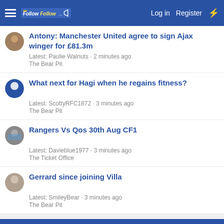FollowFollow | Log in | Register
Antony: Manchester United agree to sign Ajax winger for £81.3m
Latest: Paulie Walnuts · 2 minutes ago
The Bear Pit
What next for Hagi when he regains fitness?
Latest: ScottyRFC1872 · 3 minutes ago
The Bear Pit
Rangers Vs Qos 30th Aug CF1
Latest: Davieblue1977 · 3 minutes ago
The Ticket Office
Gerrard since joining Villa
Latest: SmileyBear · 3 minutes ago
The Bear Pit
SCOTTISH PREMIERSHIP TABLE
[Figure (screenshot): Belk.com advertisement banner showing clothing/home goods store ad with close button and navigation arrow]